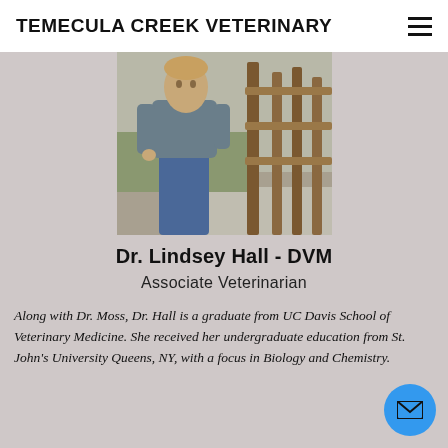TEMECULA CREEK VETERINARY
[Figure (photo): Photo of Dr. Lindsey Hall standing outdoors near a wooden fence wearing a grey t-shirt and blue jeans.]
Dr. Lindsey Hall - DVM
Associate Veterinarian
Along with Dr. Moss, Dr. Hall is a graduate from UC Davis School of Veterinary Medicine. She received her undergraduate education from St. John's University Queens, NY, with a focus in Biology and Chemistry.